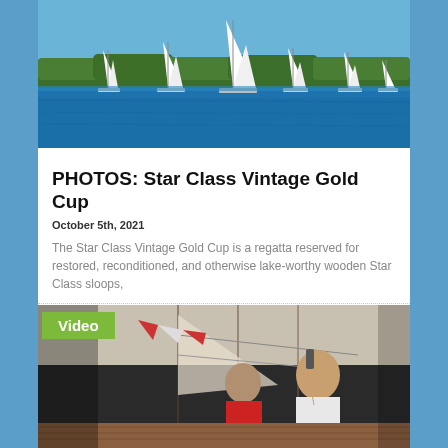[Figure (photo): Sailing regatta with multiple white sailboats on blue water with tree-lined shore in background]
PHOTOS: Star Class Vintage Gold Cup
October 5th, 2021
The Star Class Vintage Gold Cup is a regatta reserved for restored, reconditioned, and otherwise lake-worthy wooden Star Class sloops,
[Figure (photo): Video thumbnail showing people on a wooden sailboat, one person holding something up, with masts and sails in background. Green 'Video' label badge in top-left corner.]